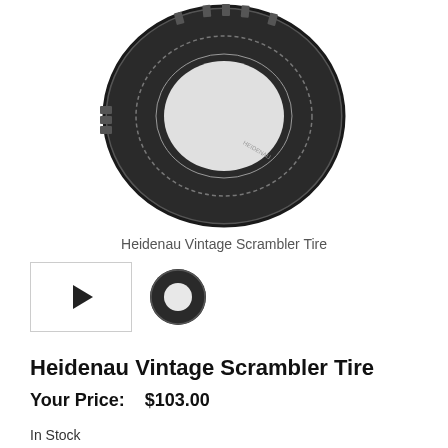[Figure (photo): Black motorcycle tire (Heidenau Vintage Scrambler Tire) shown from a front/top angle, showing tread pattern and sidewall]
Heidenau Vintage Scrambler Tire
[Figure (other): Two thumbnail images: a video play button thumbnail and a side-view thumbnail of the tire]
Heidenau Vintage Scrambler Tire
Your Price:    $103.00
In Stock